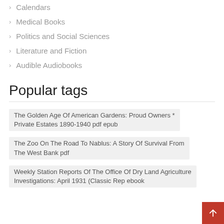Calendars
Medical Books
Politics and Social Sciences
Literature and Fiction
Audible Audiobooks
Popular tags
The Golden Age Of American Gardens: Proud Owners * Private Estates 1890-1940 pdf epub
The Zoo On The Road To Nablus: A Story Of Survival From The West Bank pdf
Weekly Station Reports Of The Office Of Dry Land Agriculture Investigations: April 1931 (Classic Rep ebook